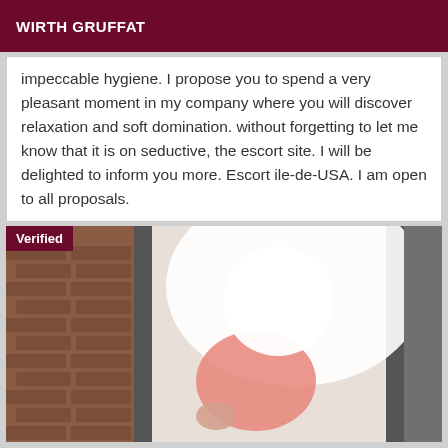WIRTH GRUFFAT
impeccable hygiene. I propose you to spend a very pleasant moment in my company where you will discover relaxation and soft domination. without forgetting to let me know that it is on seductive, the escort site. I will be delighted to inform you more. Escort ile-de-USA. I am open to all proposals.
[Figure (photo): A person standing in a doorway near a brick wall, face obscured by bright light/overexposure. Person appears to be wearing a pink top. Verified badge overlay in top-left corner.]